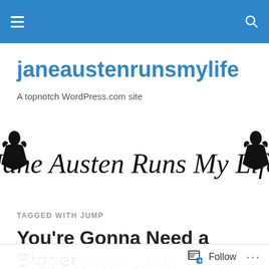janeaustenrunsmylife — site header bar with hamburger menu and search icon
janeaustenrunsmylife
A topnotch WordPress.com site
[Figure (illustration): Cursive/script logo reading 'Jane Austen Runs My Life' with Jane Austen silhouette bookends on left and right]
TAGGED WITH JUMP
You're Gonna Need a Bigger
Follow